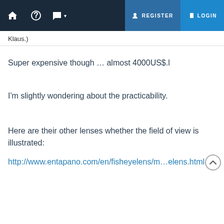REGISTER  LOGIN
Klaus.)
Super expensive though … almost 4000US$.l
I'm slightly wondering about the practicability.
Here are their other lenses whether the field of view is illustrated:
http://www.entapano.com/en/fisheyelens/m…elens.html